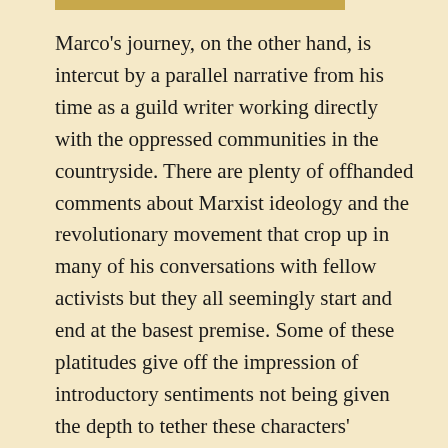Marco's journey, on the other hand, is intercut by a parallel narrative from his time as a guild writer working directly with the oppressed communities in the countryside. There are plenty of offhanded comments about Marxist ideology and the revolutionary movement that crop up in many of his conversations with fellow activists but they all seemingly start and end at the basest premise. Some of these platitudes give off the impression of introductory sentiments not being given the depth to tether these characters' ideology with their inner motivations. Still, it is not without merit to be given even a glimpse into that side of the struggle and how the borders of education, literature, politics, and even film could overlap in giving identity to an enduring cultural narrative.